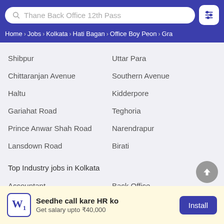[Figure (screenshot): Search bar with text 'Thane Back Office 12th Pass' and a filter icon button]
Home › Jobs › Kolkata › Hati Bagan › Office Boy Peon › Gra
Shibpur
Uttar Para
Chittaranjan Avenue
Southern Avenue
Haltu
Kidderpore
Gariahat Road
Teghoria
Prince Anwar Shah Road
Narendrapur
Lansdown Road
Birati
Top Industry jobs in Kolkata
Accountant
Back Office
Beautician
Business Development
Seedhe call kare HR ko
Get salary upto ₹40,000